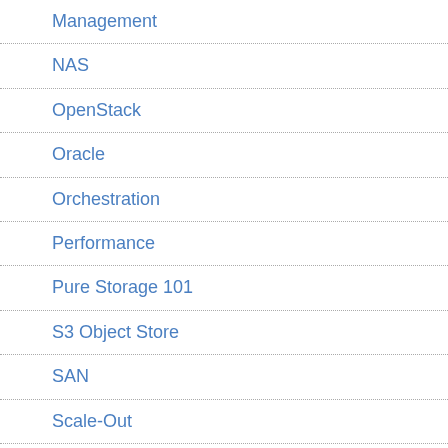Management
NAS
OpenStack
Oracle
Orchestration
Performance
Pure Storage 101
S3 Object Store
SAN
Scale-Out
Scale-Up
Security